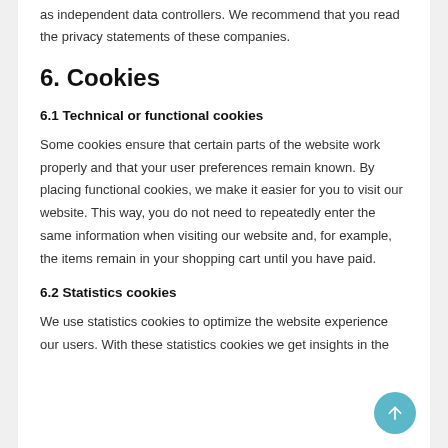as independent data controllers. We recommend that you read the privacy statements of these companies.
6. Cookies
6.1 Technical or functional cookies
Some cookies ensure that certain parts of the website work properly and that your user preferences remain known. By placing functional cookies, we make it easier for you to visit our website. This way, you do not need to repeatedly enter the same information when visiting our website and, for example, the items remain in your shopping cart until you have paid.
6.2 Statistics cookies
We use statistics cookies to optimize the website experience our users. With these statistics cookies we get insights in the